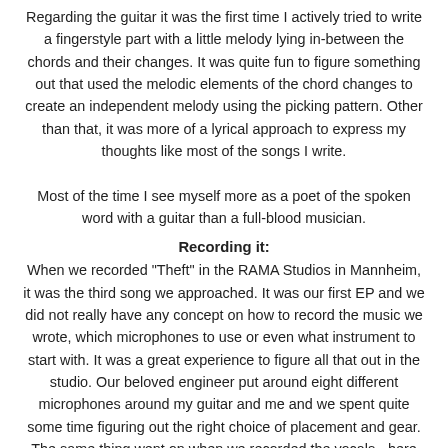Regarding the guitar it was the first time I actively tried to write a fingerstyle part with a little melody lying in-between the chords and their changes. It was quite fun to figure something out that used the melodic elements of the chord changes to create an independent melody using the picking pattern. Other than that, it was more of a lyrical approach to express my thoughts like most of the songs I write.
Most of the time I see myself more as a poet of the spoken word with a guitar than a full-blood musician.
Recording it:
When we recorded "Theft" in the RAMA Studios in Mannheim, it was the third song we approached. It was our first EP and we did not really have any concept on how to record the music we wrote, which microphones to use or even what instrument to start with. It was a great experience to figure all that out in the studio. Our beloved engineer put around eight different microphones around my guitar and me and we spent quite some time figuring out the right choice of placement and gear.
The same thing went on when we recorded the vocals - here we finally decided to use a really old microphone from the 50s or so to record our voices, which turned out to be a pretty good choice.
After the EP was already out, we started collaborating with some more musicians and decided to add some strings to the recording,